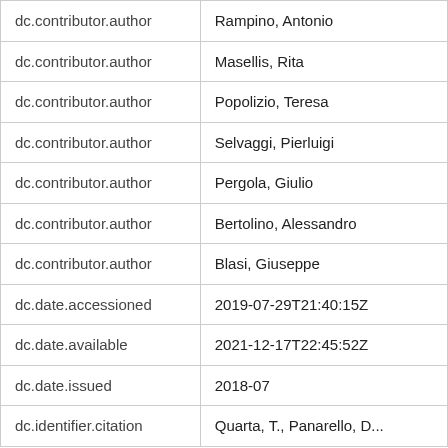| Field | Value |
| --- | --- |
| dc.contributor.author | Rampino, Antonio |
| dc.contributor.author | Masellis, Rita |
| dc.contributor.author | Popolizio, Teresa |
| dc.contributor.author | Selvaggi, Pierluigi |
| dc.contributor.author | Pergola, Giulio |
| dc.contributor.author | Bertolino, Alessandro |
| dc.contributor.author | Blasi, Giuseppe |
| dc.date.accessioned | 2019-07-29T21:40:15Z |
| dc.date.available | 2021-12-17T22:45:52Z |
| dc.date.issued | 2018-07 |
| dc.identifier.citation | Quarta, T., Panarello, D... |